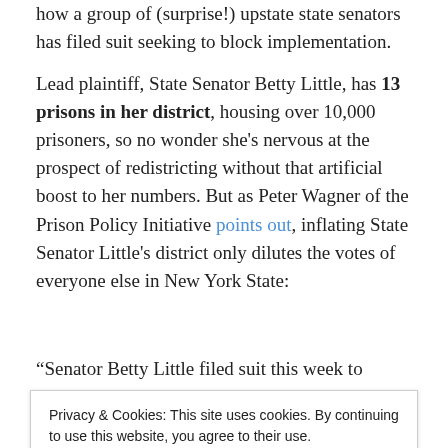how a group of (surprise!) upstate state senators has filed suit seeking to block implementation.
Lead plaintiff, State Senator Betty Little, has 13 prisons in her district, housing over 10,000 prisoners, so no wonder she's nervous at the prospect of redistricting without that artificial boost to her numbers. But as Peter Wagner of the Prison Policy Initiative points out, inflating State Senator Little's district only dilutes the votes of everyone else in New York State:
“Senator Betty Little filed suit this week to revive a legal
Privacy & Cookies: This site uses cookies. By continuing to use this website, you agree to their use.
To find out more, including how to control cookies, see here: Cookie Policy